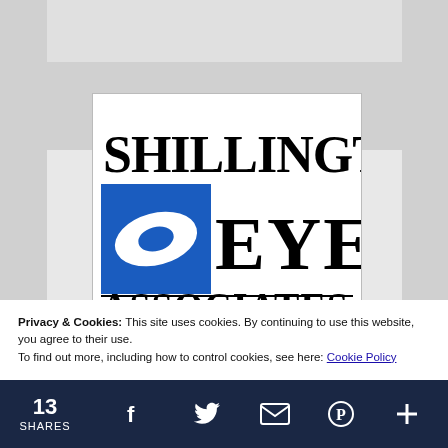[Figure (logo): Shillington Eye Associates LLC logo with blue square containing a white eye/leaf shape and bold black text]
Privacy & Cookies: This site uses cookies. By continuing to use this website, you agree to their use.
To find out more, including how to control cookies, see here: Cookie Policy
Close and accept
13 SHARES